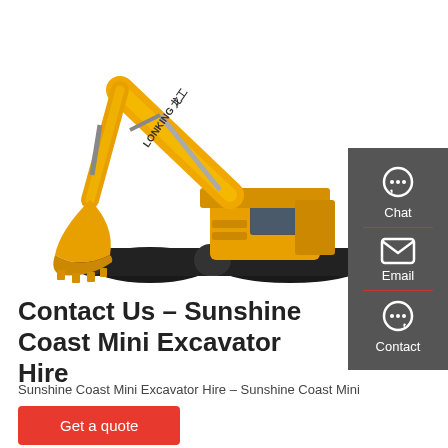[Figure (photo): Yellow Lonking brand excavator on white background, with extended arm and bucket, tracked undercarriage]
[Figure (infographic): Dark grey sidebar with Chat, Email, and Contact icons and labels, separated by red dividers]
Contact Us – Sunshine Coast Mini Excavator Hire
Sunshine Coast Mini Excavator Hire – Sunshine Coast Mini
Get a quote